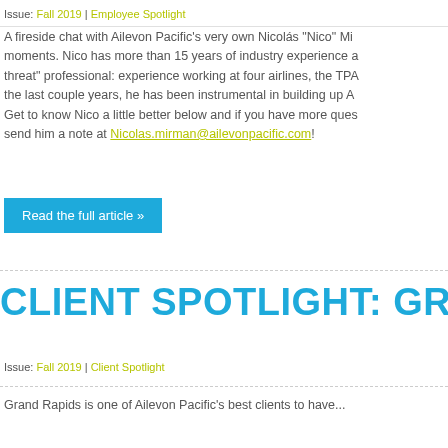Issue: Fall 2019 | Employee Spotlight
A fireside chat with Ailevon Pacific's very own Nicolás "Nico" Mi... moments. Nico has more than 15 years of industry experience a... threat" professional: experience working at four airlines, the TPA... the last couple years, he has been instrumental in building up A... Get to know Nico a little better below and if you have more ques... send him a note at Nicolas.mirman@ailevonpacific.com!
Read the full article »
CLIENT SPOTLIGHT: GRR
Issue: Fall 2019 | Client Spotlight
Grand Rapids is one of Ailevon Pacific's best clients to have...